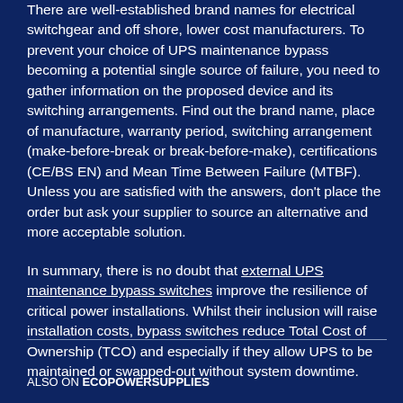There are well-established brand names for electrical switchgear and off shore, lower cost manufacturers. To prevent your choice of UPS maintenance bypass becoming a potential single source of failure, you need to gather information on the proposed device and its switching arrangements. Find out the brand name, place of manufacture, warranty period, switching arrangement (make-before-break or break-before-make), certifications (CE/BS EN) and Mean Time Between Failure (MTBF). Unless you are satisfied with the answers, don't place the order but ask your supplier to source an alternative and more acceptable solution.
In summary, there is no doubt that external UPS maintenance bypass switches improve the resilience of critical power installations. Whilst their inclusion will raise installation costs, bypass switches reduce Total Cost of Ownership (TCO) and especially if they allow UPS to be maintained or swapped-out without system downtime.
ALSO ON ECOPOWERSUPPLIES